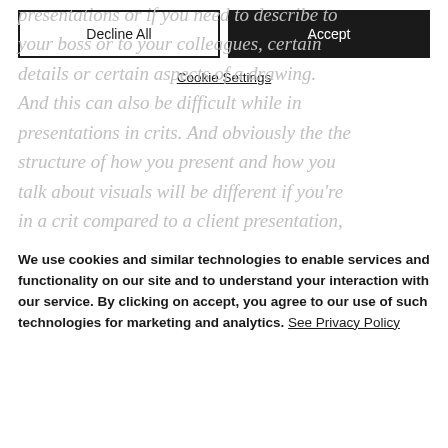presentations or if you need to describe to your boss or to your colleagues, certain details or certain aspects of a drawing. And this can also be difficult while in presentations in crits. And obviously the the structure of how you present and how you talk about visuals will be different if you're in a crit compared to a client presentation, or when you're presenting a drawing or a design to your boss. But we certainly use
We use cookies and similar technologies to enable services and functionality on our site and to understand your interaction with our service. By clicking on accept, you agree to our use of such technologies for marketing and analytics. See Privacy Policy
Decline All
Accept
Cookie Settings